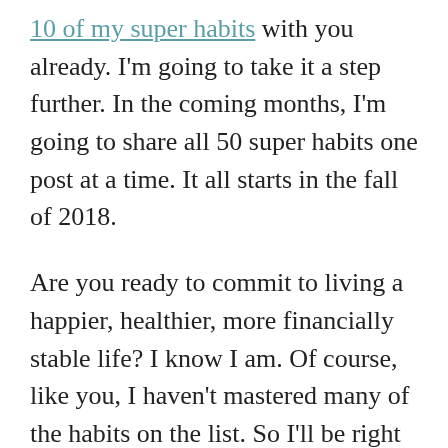10 of my super habits with you already. I'm going to take it a step further. In the coming months, I'm going to share all 50 super habits one post at a time. It all starts in the fall of 2018.
Are you ready to commit to living a happier, healthier, more financially stable life? I know I am. Of course, like you, I haven't mastered many of the habits on the list. So I'll be right there by your side as we work to understand and develop simple, yet super habits for life.
I've written a couple of ebooks that can guide you to understanding some general philosophical